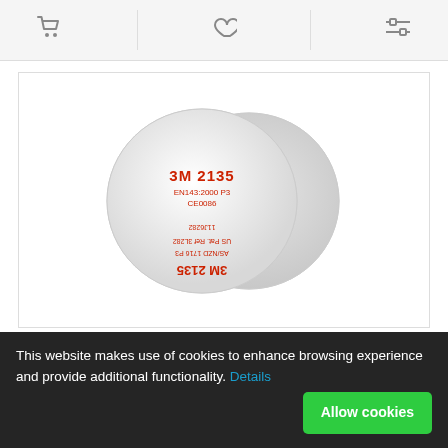[Figure (screenshot): Toolbar with shopping cart icon, heart/wishlist icon, and filter/compare icon on light gray background]
[Figure (photo): Two white circular 3M 2135 P3 particulate filter discs, one viewed from front showing red text label, one from back showing bayonet mount]
3M 2135 P3 FILTER (Pairs)
3M 2135 P3R Particulate Filters.    Stand alone, lightweight particulate f.
This website makes use of cookies to enhance browsing experience and provide additional functionality. Details